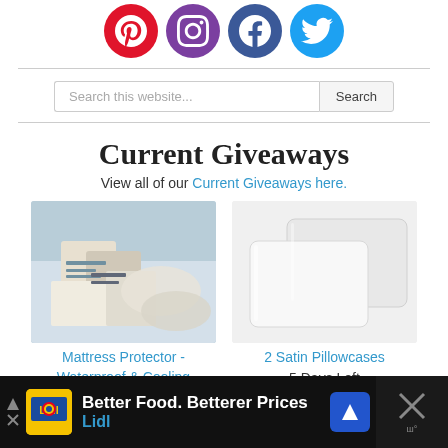[Figure (illustration): Row of four social media icons: Pinterest (red), Instagram (purple), Facebook (blue), Twitter (light blue), each in a circle]
[Figure (screenshot): Search bar with placeholder text 'Search this website...' and a Search button]
Current Giveaways
View all of our Current Giveaways here.
[Figure (photo): Photo of mattress protector product packaging with pillows in background]
Mattress Protector - Waterproof & Cooling
1 Day Left
363 Entries
[Figure (photo): Photo of two white satin pillowcases]
2 Satin Pillowcases
5 Days Left
563 Entries
[Figure (screenshot): Advertisement bar at bottom: Lidl 'Better Food. Betterer Prices' ad with yellow logo, navigation icon, and close button]